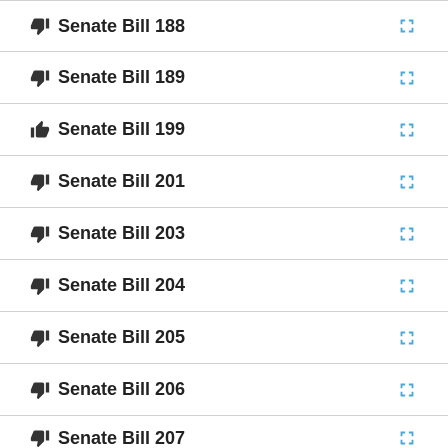👎 Senate Bill 188
👎 Senate Bill 189
👍 Senate Bill 199
👎 Senate Bill 201
👎 Senate Bill 203
👎 Senate Bill 204
👎 Senate Bill 205
👎 Senate Bill 206
Senate Bill 207 (partial)